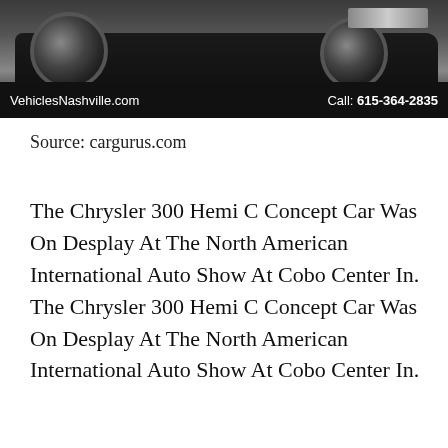[Figure (photo): A dark-colored Chrysler 300 car photographed indoors, showing the front end with wheels visible. Bottom bar shows 'VehiclesNashville.com' on the left and 'Call: 615-364-2835' on the right in white text on black background.]
Source: cargurus.com
The Chrysler 300 Hemi C Concept Car Was On Desplay At The North American International Auto Show At Cobo Center In. The Chrysler 300 Hemi C Concept Car Was On Desplay At The North American International Auto Show At Cobo Center In.